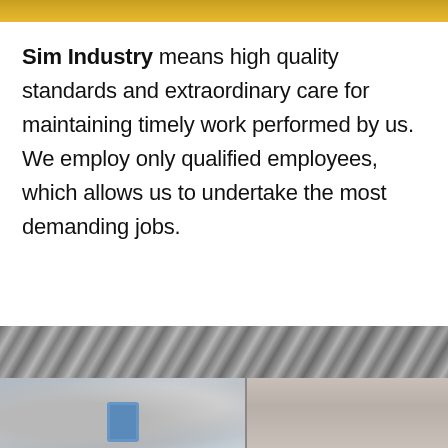[Figure (photo): Top banner photo strip, partially visible, showing industrial/workshop scene with yellow-orange tones]
Sim Industry means high quality standards and extraordinary care for maintaining timely work performed by us. We employ only qualified employees, which allows us to undertake the most demanding jobs.
[Figure (photo): Middle horizontal photo strip showing diagonal metal beams or structural elements in grayscale]
[Figure (photo): Bottom two photos side by side showing industrial equipment, pipes, and metal structures in a workshop or factory setting]